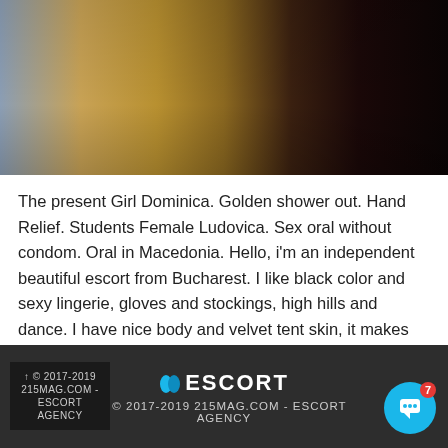[Figure (photo): Close-up photo of fabric/clothing with brown and gold tones, with partial text watermarks reading 'beautyground.com']
The present Girl Dominica. Golden shower out. Hand Relief. Students Female Ludovica. Sex oral without condom. Oral in Macedonia. Hello, i'm an independent beautiful escort from Bucharest. I like black color and sexy lingerie, gloves and stockings, high hills and dance. I have nice body and velvet tent skin, it makes me horny when you touch it.
ESCORT © 2017-2019 215MAG.COM - ESCORT AGENCY